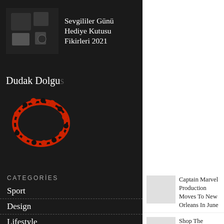[Figure (photo): Gift box with items including mugs and wooden blocks]
Sevgililer Günü Hediye Kutusu Fikirleri 2021
Dudak Dolgu…
[Figure (photo): Red and black beaded jewelry/hoop earrings]
MORE NEWS
CATEGORİES
Sport
Design
Lifestyle
[Figure (photo): Placeholder thumbnail for Captain Marvel article]
Captain Marvel Production Moves To New Orleans In June
[Figure (photo): Placeholder thumbnail for Shop The Nature article]
Shop The Nature-Inspired Look Of This Carmel Home
[Figure (photo): Placeholder thumbnail for San Diego article]
San Diego gets ready for the 2019 World Beach Games